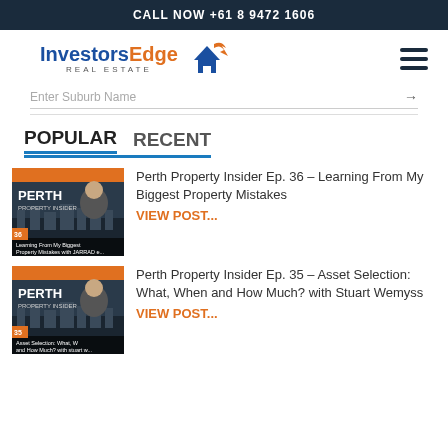CALL NOW +61 8 9472 1606
[Figure (logo): InvestorsEdge Real Estate logo with house and arrow icon]
Enter Suburb Name
POPULAR   RECENT
[Figure (photo): Perth Property Insider podcast thumbnail with presenter, Episode 36, Learning From My Biggest Property Mistakes]
Perth Property Insider Ep. 36 – Learning From My Biggest Property Mistakes
VIEW POST...
[Figure (photo): Perth Property Insider podcast thumbnail with presenter, Episode 35, Asset Selection: What, When and How Much?]
Perth Property Insider Ep. 35 – Asset Selection: What, When and How Much? with Stuart Wemyss
VIEW POST...